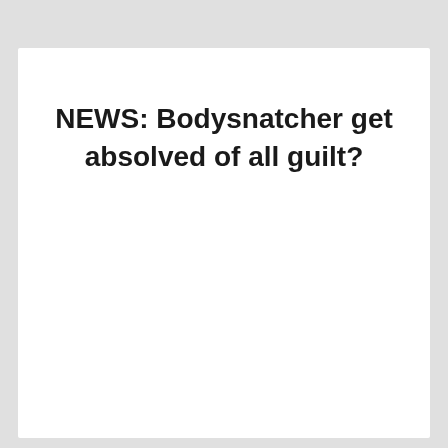NEWS: Bodysnatcher get absolved of all guilt?